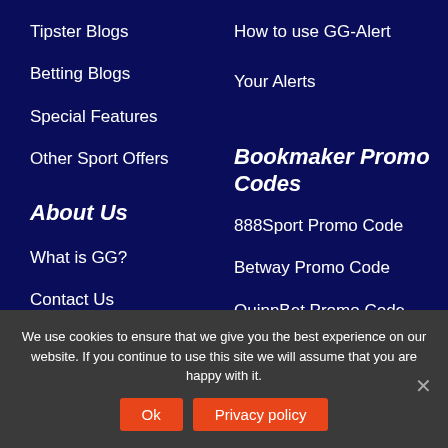Tipster Blogs
Betting Blogs
Special Features
Other Sport Offers
About Us
What is GG?
Contact Us
Terms & Conditions
About Cookies
How to use GG-Alert
Your Alerts
Bookmaker Promo Codes
888Sport Promo Code
Betway Promo Code
QuinnBet Promo Code
We use cookies to ensure that we give you the best experience on our website. If you continue to use this site we will assume that you are happy with it.